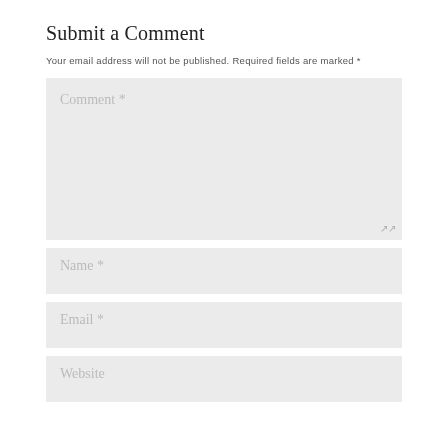Submit a Comment
Your email address will not be published. Required fields are marked *
Comment *
Name *
Email *
Website